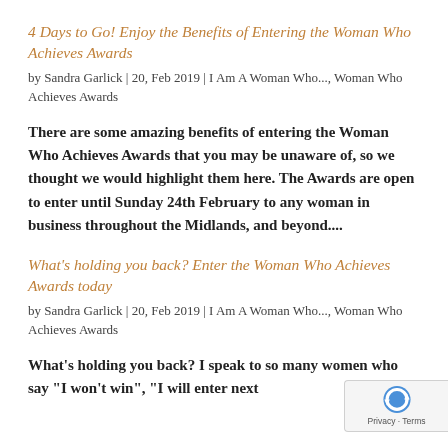4 Days to Go! Enjoy the Benefits of Entering the Woman Who Achieves Awards
by Sandra Garlick | 20, Feb 2019 | I Am A Woman Who..., Woman Who Achieves Awards
There are some amazing benefits of entering the Woman Who Achieves Awards that you may be unaware of, so we thought we would highlight them here. The Awards are open to enter until Sunday 24th February to any woman in business throughout the Midlands, and beyond....
What's holding you back? Enter the Woman Who Achieves Awards today
by Sandra Garlick | 20, Feb 2019 | I Am A Woman Who..., Woman Who Achieves Awards
What's holding you back? I speak to so many women who say "I won't win", "I will enter next